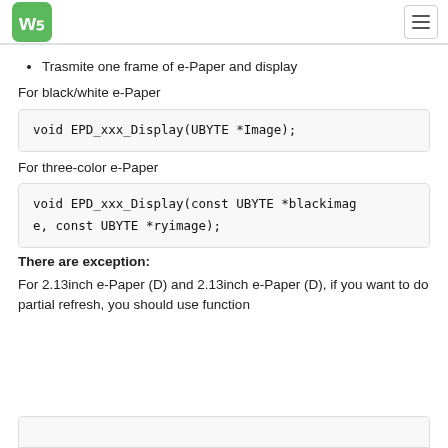Waveshare logo and navigation
Trasmite one frame of e-Paper and display
For black/white e-Paper
[Figure (screenshot): Code box showing: void EPD_xxx_Display(UBYTE *Image);]
For three-color e-Paper
[Figure (screenshot): Code box showing: void EPD_xxx_Display(const UBYTE *blackimage, const UBYTE *ryimage);]
There are exception:
For 2.13inch e-Paper (D) and 2.13inch e-Paper (D), if you want to do partial refresh, you should use function
[Figure (screenshot): Partial bottom code box (cut off)]